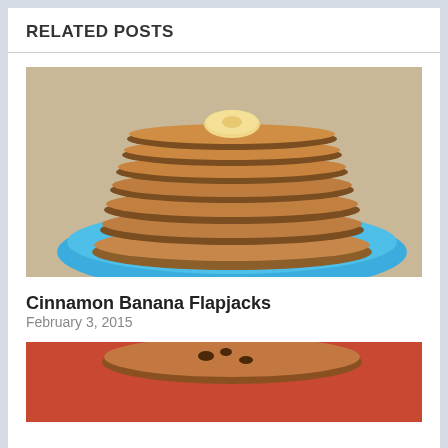RELATED POSTS
[Figure (photo): Stack of cinnamon banana flapjacks/pancakes on a blue plate with a banana slice on top, photographed on a wooden surface]
Cinnamon Banana Flapjacks
February 3, 2015
[Figure (photo): Partial view of another food post image, showing what appears to be pancakes on a red/orange surface, partially cropped]